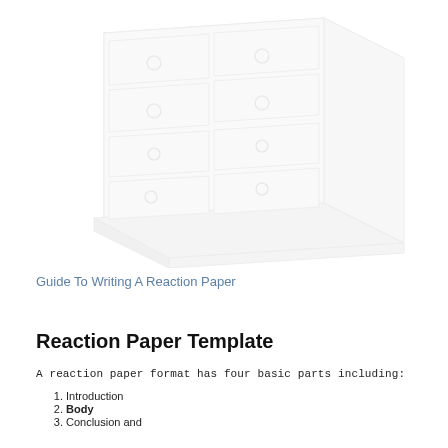[Figure (illustration): A light-colored, faded illustration of a wooden chest of drawers (dresser) with multiple drawers and ring pull handles, shown in a slightly angled perspective view.]
Guide To Writing A Reaction Paper
Reaction Paper Template
A reaction paper format has four basic parts including:
Introduction
Body
Conclusion and